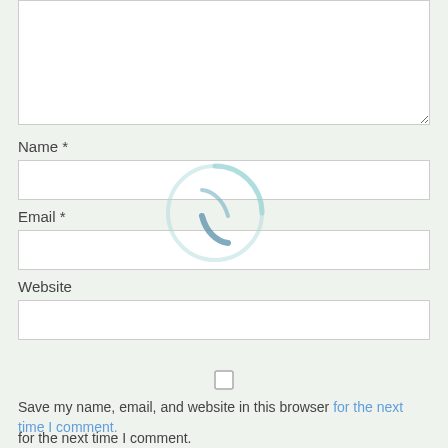[Figure (screenshot): Comment form textarea (empty, white background, resize handle visible at bottom-right)]
Name *
[Figure (screenshot): Name text input field (empty, white background)]
Email *
[Figure (screenshot): Email text input field (empty, white background)]
Website
[Figure (screenshot): Website text input field (empty, white background)]
[Figure (other): Loading spinner graphic (teal/blue arc circles) overlaid on the form]
[Figure (screenshot): Checkbox (unchecked) for saving browser info]
Save my name, email, and website in this browser for the next time I comment.